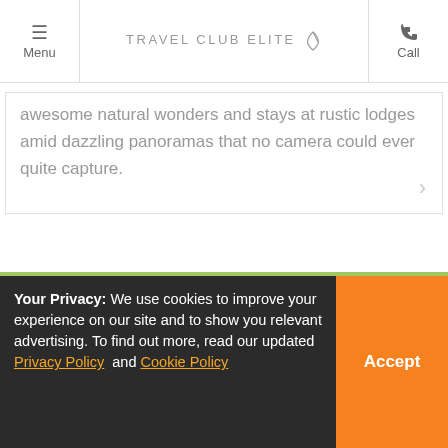Menu | TRAVEL CLUB ELITE | Call
awesome natural wonders and stays at rustic lodges amid dazzling panoramas that no camera could ever quite capture.
[Figure (photo): Autumn foliage landscape with orange and red trees on a hillside, green meadow, and a dark wooden barn/covered bridge structure in the foreground.]
Your Privacy: We use cookies to improve your experience on our site and to show you relevant advertising. To find out more, read our updated Privacy Policy and Cookie Policy